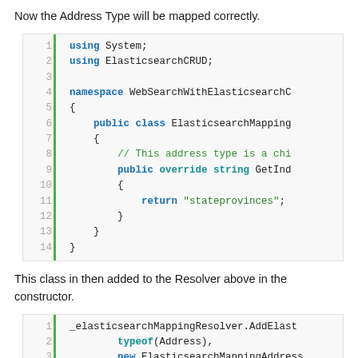Now the Address Type will be mapped correctly.
[Figure (screenshot): Code block showing C# using statements, namespace and class definition with GetIndex method returning 'stateprovinces']
This class in then added to the Resolver above in the constructor.
[Figure (screenshot): Code block showing _elasticsearchMappingResolver.AddElast call with typeof(Address) and new ElasticsearchMappingAddress arguments]